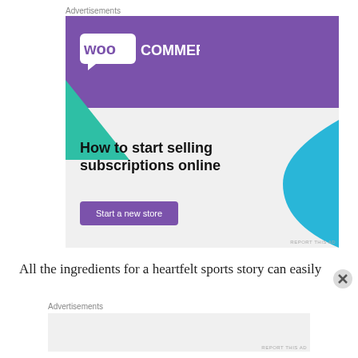Advertisements
[Figure (screenshot): WooCommerce advertisement banner. Purple header with WooCommerce logo, green triangle shape at bottom left, blue curve at bottom right. Text reads: 'How to start selling subscriptions online' with a purple 'Start a new store' button.]
REPORT THIS AD
All the ingredients for a heartfelt sports story can easily
Advertisements
REPORT THIS AD